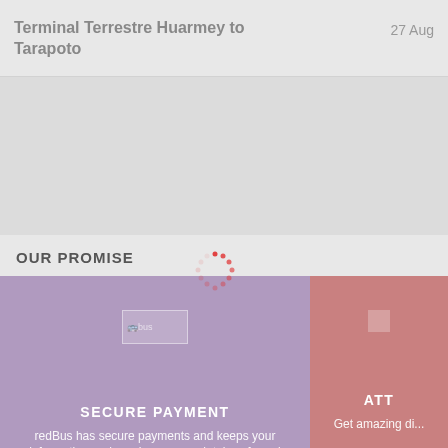Terminal Terrestre Huarmey to Tarapoto
27 Aug
OUR PROMISE
[Figure (illustration): Purple card with bus icon placeholder and loading spinner overlay. Card title: SECURE PAYMENT. Card text: redBus has secure payments and keeps your information and purchases completely safe and secure.]
[Figure (illustration): Pink card partially visible on right. Title partially visible: ATT. Text: Get amazing di...]